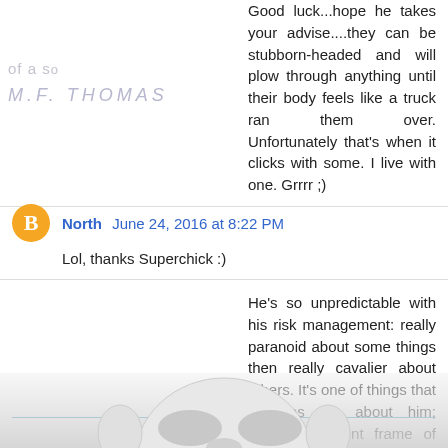Good luck...hope he takes your advise....they can be stubborn-headed and will plow through anything until their body feels like a truck ran them over. Unfortunately that's when it clicks with some. I live with one. Grrrr ;)
North  June 24, 2016 at 8:22 PM
Lol, thanks Superchick :)
He's so unpredictable with his risk management: really paranoid about some things then really cavalier about others. It's one of things that intrigues me about him; such a different frame of reference, a different approach to the world, a different way of learning.
Thanks again, hey.
Reply